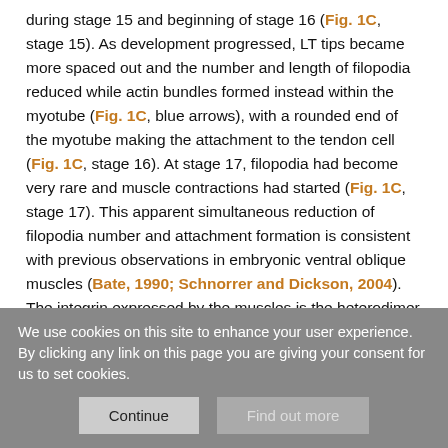during stage 15 and beginning of stage 16 (Fig. 1C, stage 15). As development progressed, LT tips became more spaced out and the number and length of filopodia reduced while actin bundles formed instead within the myotube (Fig. 1C, blue arrows), with a rounded end of the myotube making the attachment to the tendon cell (Fig. 1C, stage 16). At stage 17, filopodia had become very rare and muscle contractions had started (Fig. 1C, stage 17). This apparent simultaneous reduction of filopodia number and attachment formation is consistent with previous observations in embryonic ventral oblique muscles (Bate, 1990; Schnorrer and Dickson, 2004). The integrin expressed by the muscles is the heterodimer αPSβPS, which attaches the muscle to the tendon
We use cookies on this site to enhance your user experience. By clicking any link on this page you are giving your consent for us to set cookies.